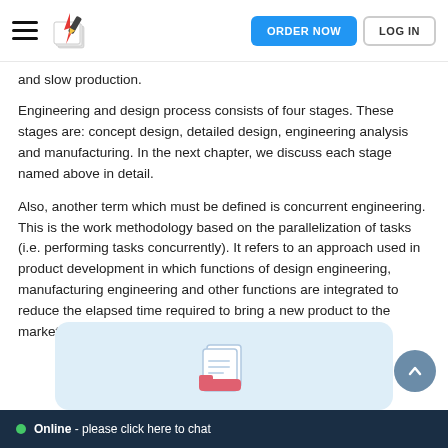ORDER NOW  LOG IN
and slow production.
Engineering and design process consists of four stages. These stages are: concept design, detailed design, engineering analysis and manufacturing. In the next chapter, we discuss each stage named above in detail.
Also, another term which must be defined is concurrent engineering. This is the work methodology based on the parallelization of tasks (i.e. performing tasks concurrently). It refers to an approach used in product development in which functions of design engineering, manufacturing engineering and other functions are integrated to reduce the elapsed time required to bring a new product to the market.
[Figure (illustration): Document/file icon illustration on a light blue card at the bottom of the page]
Online - please click here to chat